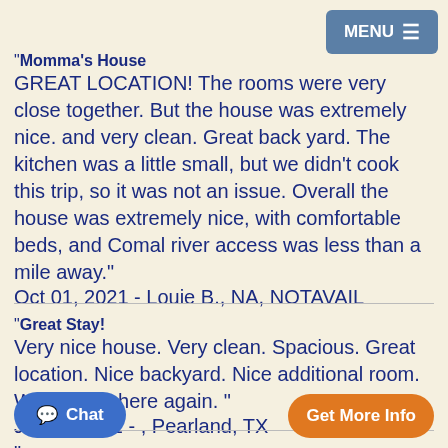MENU ☰
"Momma's House GREAT LOCATION! The rooms were very close together. But the house was extremely nice. and very clean. Great back yard. The kitchen was a little small, but we didn't cook this trip, so it was not an issue. Overall the house was extremely nice, with comfortable beds, and Comal river access was less than a mile away." Oct 01, 2021 - Louie B., NA, NOTAVAIL
"Great Stay! Very nice house. Very clean. Spacious. Great location. Nice backyard. Nice additional room. Would stay here again. " Jul 12, 2021 - , Pearland, TX
" Great place, perfect location & clean
Chat
Get More Info